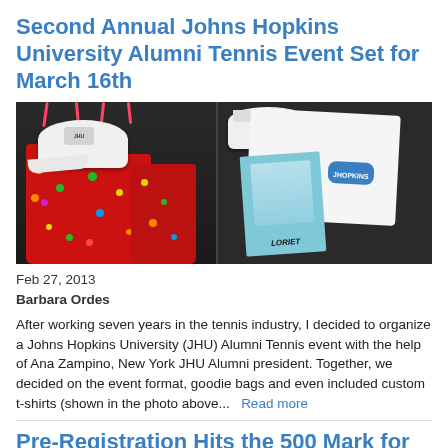Second Annual Johns Hopkins University Alumni Tennis Event Set for March 16th
[Figure (photo): Two-panel photo showing Johns Hopkins University branded merchandise: left panel shows red polka-dot gift bags with white caps; right panel shows white cap, white t-shirt with JHU logo, and a Loriet catalog/brochure featuring a woman on the cover.]
Feb 27, 2013
Barbara Ordes
After working seven years in the tennis industry, I decided to organize a Johns Hopkins University (JHU) Alumni Tennis event with the help of Ana Zampino, New York JHU Alumni president. Together, we decided on the event format, goodie bags and even included custom t-shirts (shown in the photo above...   Read more
Pre-Registration Hits the 500 Mark for